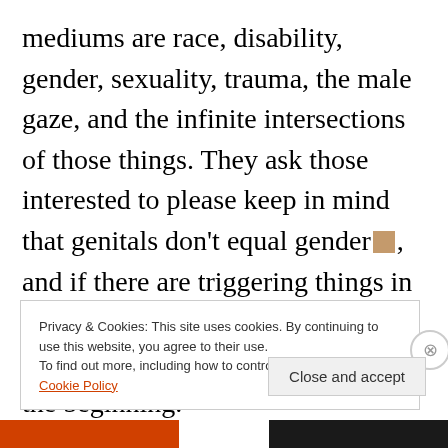mediums are race, disability, gender, sexuality, trauma, the male gaze, and the infinite intersections of those things. They ask those interested to please keep in mind that genitals don't equal gender 🟫, and if there are triggering things in your written works please write which triggering topics they are at the beginning.
Privacy & Cookies: This site uses cookies. By continuing to use this website, you agree to their use.
To find out more, including how to control cookies, see here: Cookie Policy
Close and accept